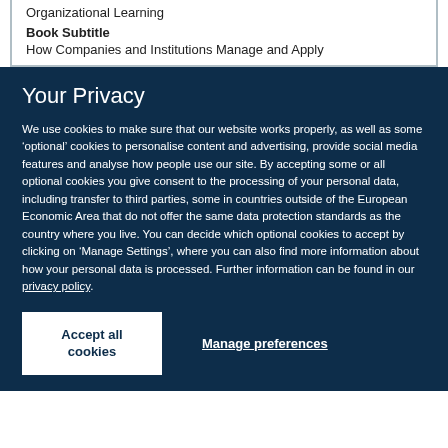Organizational Learning
Book Subtitle
How Companies and Institutions Manage and Apply
Your Privacy
We use cookies to make sure that our website works properly, as well as some ‘optional’ cookies to personalise content and advertising, provide social media features and analyse how people use our site. By accepting some or all optional cookies you give consent to the processing of your personal data, including transfer to third parties, some in countries outside of the European Economic Area that do not offer the same data protection standards as the country where you live. You can decide which optional cookies to accept by clicking on ‘Manage Settings’, where you can also find more information about how your personal data is processed. Further information can be found in our privacy policy.
Accept all cookies
Manage preferences